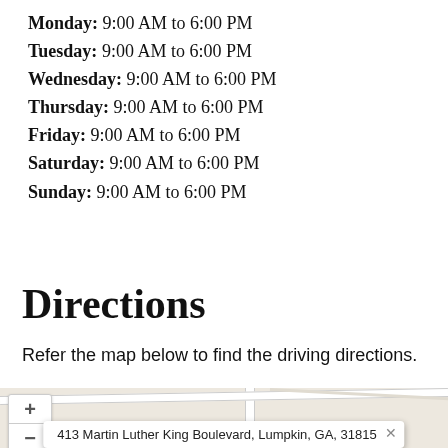Monday: 9:00 AM to 6:00 PM
Tuesday: 9:00 AM to 6:00 PM
Wednesday: 9:00 AM to 6:00 PM
Thursday: 9:00 AM to 6:00 PM
Friday: 9:00 AM to 6:00 PM
Saturday: 9:00 AM to 6:00 PM
Sunday: 9:00 AM to 6:00 PM
Directions
Refer the map below to find the driving directions.
[Figure (map): Street map showing location at 413 Martin Luther King Boulevard, Lumpkin, GA, 31815 with zoom controls and an address popup at the bottom.]